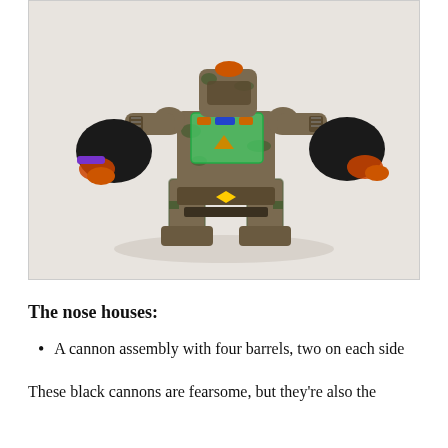[Figure (photo): A camouflage-painted robot/mech toy with a green transparent torso panel, holding two small black action figures on each arm, standing on two legs. The toy has military camouflage coloring with brown and green, and features small black figurines with orange accessories attached to its arms.]
The nose houses:
A cannon assembly with four barrels, two on each side
These black cannons are fearsome, but they're also the